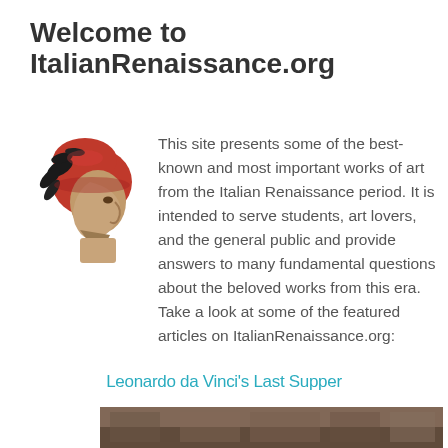Welcome to ItalianRenaissance.org
[Figure (illustration): Portrait illustration of Dante Alighieri wearing a red cap with black laurel leaves, shown in profile facing right]
This site presents some of the best-known and most important works of art from the Italian Renaissance period. It is intended to serve students, art lovers, and the general public and provide answers to many fundamental questions about the beloved works from this era. Take a look at some of the featured articles on ItalianRenaissance.org:
Leonardo da Vinci's Last Supper
[Figure (photo): Partial view of Leonardo da Vinci's Last Supper painting, showing the lower portion]